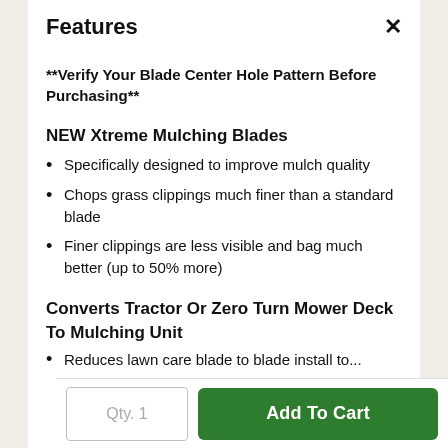Features
**Verify Your Blade Center Hole Pattern Before Purchasing**
NEW Xtreme Mulching Blades
Specifically designed to improve mulch quality
Chops grass clippings much finer than a standard blade
Finer clippings are less visible and bag much better (up to 50% more)
Converts Tractor Or Zero Turn Mower Deck To Mulching Unit
Reduces lawn care blade to blade install to...
Qty. 1
Add To Cart